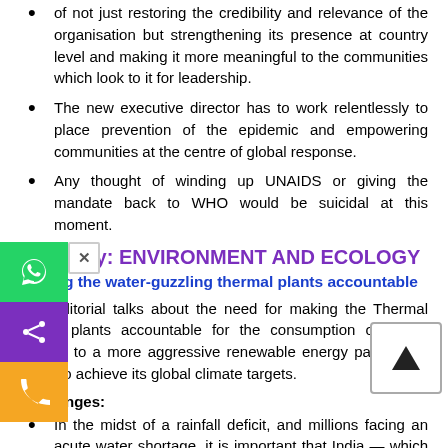of not just restoring the credibility and relevance of the organisation but strengthening its presence at country level and making it more meaningful to the communities which look to it for leadership.
The new executive director has to work relentlessly to place prevention of the epidemic and empowering communities at the centre of global response.
Any thought of winding up UNAIDS or giving the mandate back to WHO would be suicidal at this moment.
Category: ENVIRONMENT AND ECOLOGY
Making the water-guzzling thermal plants accountable
The editorial talks about the need for making the Thermal power plants accountable for the consumption of water, shifting to a more aggressive renewable energy pathway in order to achieve its global climate targets.
Challenges:
In the midst of a rainfall deficit, and millions facing an acute water shortage, it is important that India — which has only 4% of the world's renewable water resources